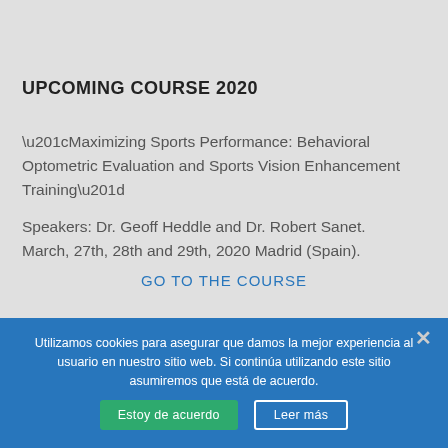UPCOMING COURSE 2020
“Maximizing Sports Performance: Behavioral Optometric Evaluation and Sports Vision Enhancement Training”
Speakers: Dr. Geoff Heddle and Dr. Robert Sanet. March, 27th, 28th and 29th, 2020 Madrid (Spain).
GO TO THE COURSE
Utilizamos cookies para asegurar que damos la mejor experiencia al usuario en nuestro sitio web. Si continúa utilizando este sitio asumiremos que está de acuerdo.
Estoy de acuerdo
Leer más